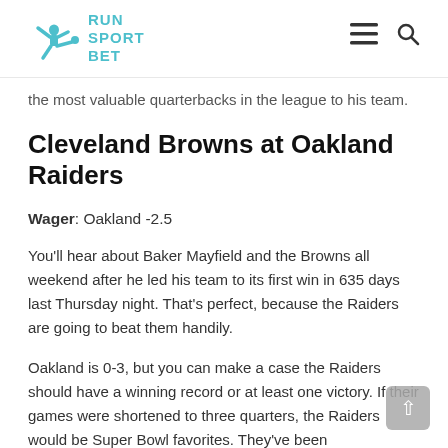Run Sport Bet
the most valuable quarterbacks in the league to his team.
Cleveland Browns at Oakland Raiders
Wager: Oakland -2.5
You'll hear about Baker Mayfield and the Browns all weekend after he led his team to its first win in 635 days last Thursday night. That's perfect, because the Raiders are going to beat them handily.
Oakland is 0-3, but you can make a case the Raiders should have a winning record or at least one victory. If their games were shortened to three quarters, the Raiders would be Super Bowl favorites. They've been